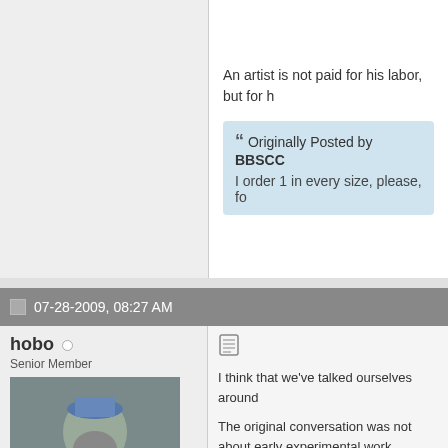An artist is not paid for his labor, but for h
Originally Posted by BBSCC
I order 1 in every size, please, fo
07-28-2009, 08:27 AM
hobo
Senior Member
Join Date: Jul 2009
Location: Yorkshire, England
I think that we've talked ourselves around
The original conversation was not about early experimental work constituted inno example of his use of authentic patterns